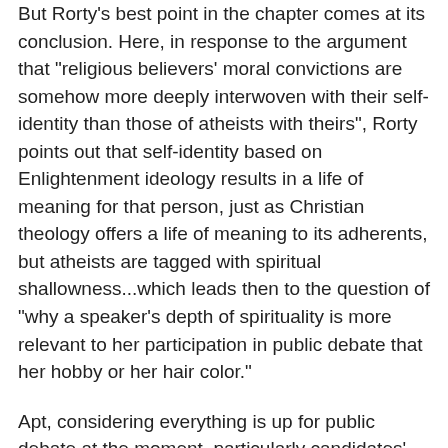But Rorty's best point in the chapter comes at its conclusion. Here, in response to the argument that "religious believers' moral convictions are somehow more deeply interwoven with their self-identity than those of atheists with theirs", Rorty points out that self-identity based on Enlightenment ideology results in a life of meaning for that person, just as Christian theology offers a life of meaning to its adherents, but atheists are tagged with spiritual shallowness...which leads then to the question of "why a speaker's depth of spirituality is more relevant to her participation in public debate that her hobby or her hair color."
Apt, considering everything is up for public debate at the moment, particularly candidates' depth of spirituality and commitment to 'moral knowledge'. And lipstick color. I recall a devoutly Catholic friend saying to me once, "I don't get how you have morals since you don't have faith." She also was annoyed that she could not "put her finger on me" and say in one phrase what exactly I was. Other than human, I guess. And one can see her same annoyance writ large in an election year.
When I am exhausted by the subject, or when stuck across...